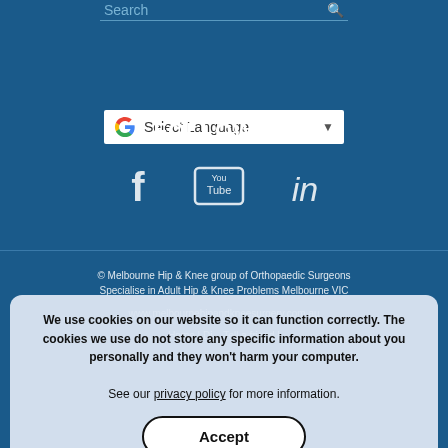[Figure (screenshot): Search bar with placeholder text 'Search' and search icon, on dark blue background]
[Figure (screenshot): Google Translate widget showing 'Select Language' dropdown with Google G logo and dropdown arrow]
FOLLOW US
[Figure (infographic): Social media icons: Facebook (f), YouTube (You/Tube box icon), LinkedIn (in)]
© Melbourne Hip & Knee group of Orthopaedic Surgeons Specialise in Adult Hip & Knee Problems Melbourne VIC
www.melbournehipandkneesurgery.com.au
Home | Di... | Tell a friend |
We use cookies on our website so it can function correctly. The cookies we use do not store any specific information about you personally and they won't harm your computer.
See our privacy policy for more information.
Accept